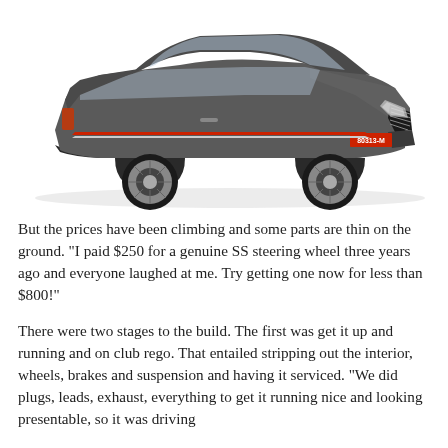[Figure (photo): A grey/dark silver sedan car (appears to be a Holden Commodore SS) photographed from a three-quarter front angle on a white background. The car has red and silver side stripes, alloy wheels, and a red licence plate reading 80313-M.]
But the prices have been climbing and some parts are thin on the ground. "I paid $250 for a genuine SS steering wheel three years ago and everyone laughed at me. Try getting one now for less than $800!"
There were two stages to the build. The first was get it up and running and on club rego. That entailed stripping out the interior, wheels, brakes and suspension and having it serviced. "We did plugs, leads, exhaust, everything to get it running nice and looking presentable, so it was driving